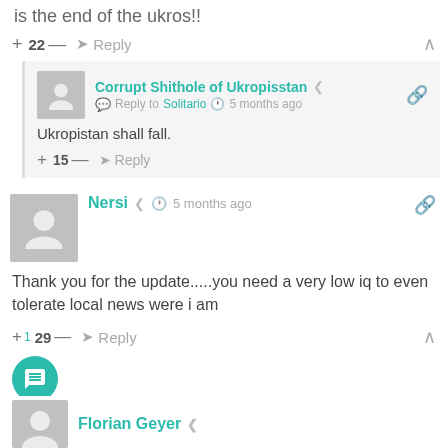is the end of the ukros!!
+ 22 — → Reply
Corrupt Shithole of Ukropisstan
Reply to Solitario  5 months ago
Ukropistan shall fall.
+ 15 — → Reply
Nersi  5 months ago
Thank you for the update.....you need a very low iq to even tolerate local news were i am
+1 29 — → Reply
Florian Geyer